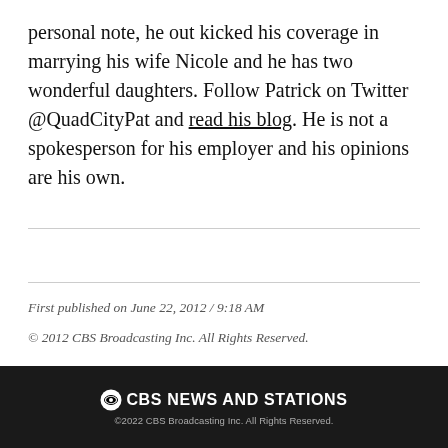personal note, he out kicked his coverage in marrying his wife Nicole and he has two wonderful daughters. Follow Patrick on Twitter @QuadCityPat and read his blog. He is not a spokesperson for his employer and his opinions are his own.
First published on June 22, 2012 / 9:18 AM
© 2012 CBS Broadcasting Inc. All Rights Reserved.
CBS NEWS AND STATIONS
©2022 CBS Broadcasting Inc. All Rights Reserved.